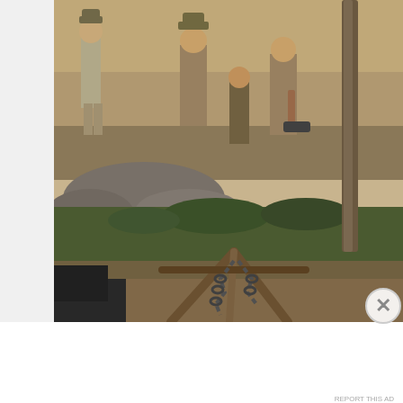[Figure (photo): Vintage or film still photograph showing several people in period Western or frontier clothing standing in a rocky outdoor setting. There are wooden structures, chains, rocks, and green vegetation visible. A tall wooden post stands at the right. The foreground shows a wooden sawhorse or tripod structure with chains.]
Advertisements
[Figure (other): Advertisement banner for Pocket Casts app. Shows a colorful four-quadrant logo on the left, text 'The go-to app for podcast lovers.' in the center, and the Pocket Casts circular red logo with brand name on the right.]